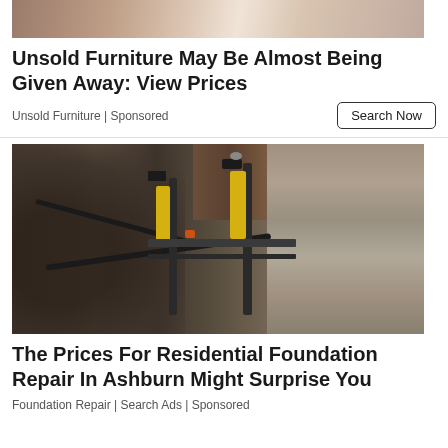[Figure (photo): Cropped top portion of a furniture advertisement photo showing furniture items]
Unsold Furniture May Be Almost Being Given Away: View Prices
Unsold Furniture | Sponsored
[Figure (photo): Foundation repair work showing hydraulic jacks with yellow accents installed against a concrete block wall in an excavated area]
The Prices For Residential Foundation Repair In Ashburn Might Surprise You
Foundation Repair | Search Ads | Sponsored